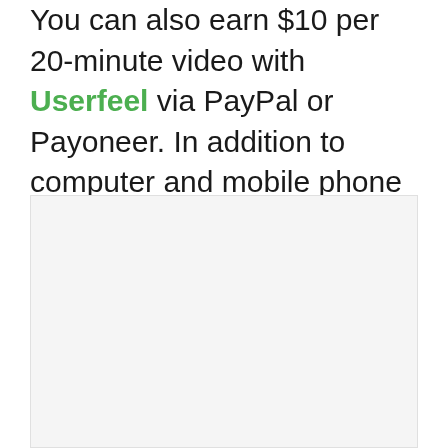You can also earn $10 per 20-minute video with Userfeel via PayPal or Payoneer. In addition to computer and mobile phone testing, you can also test with your Apple watch or smartwatch too!
[Figure (other): A light gray placeholder image box]